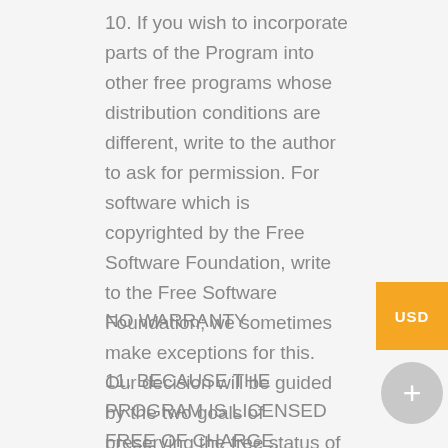10. If you wish to incorporate parts of the Program into other free programs whose distribution conditions are different, write to the author to ask for permission. For software which is copyrighted by the Free Software Foundation, write to the Free Software Foundation; we sometimes make exceptions for this. Our decision will be guided by the two goals of preserving the free status of all derivatives of our free software and of promoting the sharing and reuse of software generally.
NO WARRANTY
11. BECAUSE THE PROGRAM IS LICENSED FREE OF CHARGE, THERE IS NO WARRANTY FOR THE PROGRAM, TO THE EXTENT PERMITTED BY APPLICABLE LAW. EXCEPT WHERE OTHERWISE